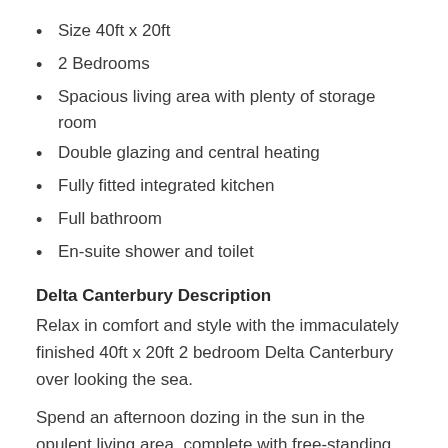Size 40ft x 20ft
2 Bedrooms
Spacious living area with plenty of storage room
Double glazing and central heating
Fully fitted integrated kitchen
Full bathroom
En-suite shower and toilet
Delta Canterbury Description
Relax in comfort and style with the immaculately finished 40ft x 20ft 2 bedroom Delta Canterbury over looking the sea.
Spend an afternoon dozing in the sun in the opulent living area, complete with free-standing furniture. Cooking is made easier with the modern kitchen. Equipped with a microwave, oven, hob and fridge freezer. This model boasts a vast master bedroom